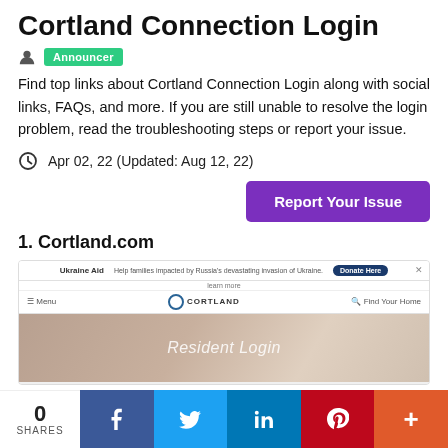Cortland Connection Login
Announcer
Find top links about Cortland Connection Login along with social links, FAQs, and more. If you are still unable to resolve the login problem, read the troubleshooting steps or report your issue.
Apr 02, 22 (Updated: Aug 12, 22)
Report Your Issue
1. Cortland.com
[Figure (screenshot): Screenshot of Cortland.com website showing a Ukraine Aid banner, navigation bar with Cortland logo, and a Resident Login page with a person lying on the floor using a tablet.]
0 SHARES